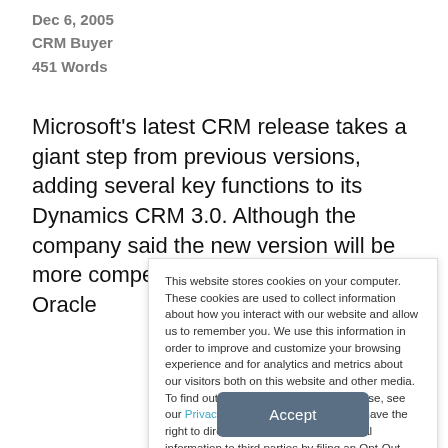Dec 6, 2005
CRM Buyer
451 Words
Microsoft's latest CRM release takes a giant step from previous versions, adding several key functions to its Dynamics CRM 3.0. Although the company said the new version will be more competitive with CRM giants Oracle
This website stores cookies on your computer. These cookies are used to collect information about how you interact with our website and allow us to remember you. We use this information in order to improve and customize your browsing experience and for analytics and metrics about our visitors both on this website and other media. To find out more about the cookies we use, see our Privacy Policy. California residents have the right to direct us not to sell their personal information to third parties by filing an Opt-Out Request: Do Not Sell My Personal Info.
Accept